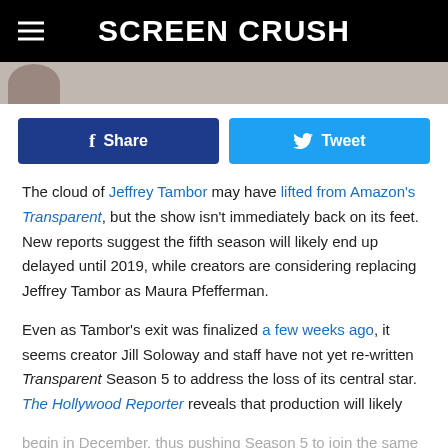SCREEN CRUSH
[Figure (photo): Partial photo strip showing a person's head/shoulder thumbnail]
Share | Tweet (social share buttons)
The cloud of Jeffrey Tambor may have lifted from Amazon's Transparent, but the show isn't immediately back on its feet. New reports suggest the fifth season will likely end up delayed until 2019, while creators are considering replacing Jeffrey Tambor as Maura Pfefferman.
Even as Tambor's exit was finalized a few weeks ago, it seems creator Jill Soloway and staff have not yet re-written Transparent Season 5 to address the loss of its central star. The Hollywood Reporter reveals that production will likely begin in December, thus pushing Season 5 to join the same 2019 club as Game of Thrones, Stranger Things, Four...